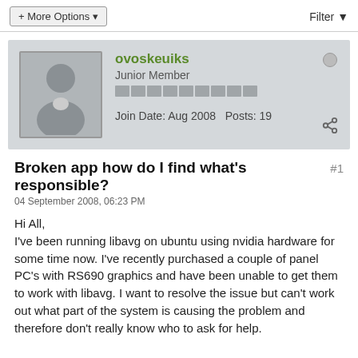+ More Options
Filter
ovoskeuiks
Junior Member
Join Date: Aug 2008  Posts: 19
Broken app how do I find what's responsible?
04 September 2008, 06:23 PM
Hi All,
I've been running libavg on ubuntu using nvidia hardware for some time now. I've recently purchased a couple of panel PC's with RS690 graphics and have been unable to get them to work with libavg. I want to resolve the issue but can't work out what part of the system is causing the problem and therefore don't really know who to ask for help.

I've tried this with ubuntu 8.04.1 and 8.10, I run the server version and install xorg and python libavg or alternatively